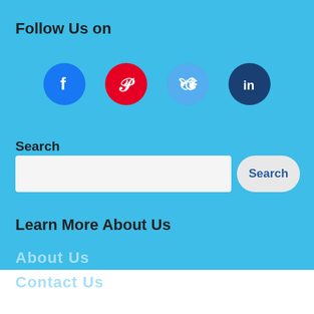Follow Us on
[Figure (infographic): Four social media icons in circles: Facebook (blue), Pinterest (red), Twitter (light blue), LinkedIn (dark blue)]
Search
[Figure (other): Search input field with a Search button]
Learn More About Us
About Us
Contact Us